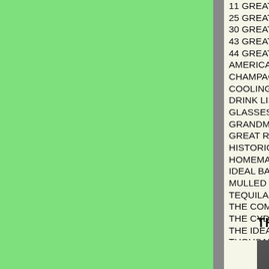11 GREAT VODKA COCKTAILS
25 GREAT GIN GIN COCKTAILS
30 GREAT SHOOTERS
43 GREAT COCKTAILS
44 GREAT SHOOTERS AND COCKTAILS
AMERICAN AND OTHER DRINKS
CHAMPAGNE COCKTAILS
COOLING CUPS AND DAINTY DRINKS
DRINK LIST
GLASSES
GRANDMA'S MOONSHINE
GREAT RUM COCKTAILS
HISTORICAL BREWS FROM CANADA
HOMEMADE KENTUCKY BEER
IDEAL BARTENDER ORIG BK
MULLED WINE
TEQUILA RECIPES
THE COMPLETE PRACTICAL BREWER OR
THE CYDER-MAKERS INSTRUCTOR
THE IDEAL BARTENDER
THOUSANDS OF COCKTAILS
VODKA DRINKS
VODKA RECIPES
WHISKEY RECIPES
THOUSANDS AND THOUSAN
[Figure (photo): Partial view of a bar or kitchen setting with dark background and a copper/brass colored object, likely a drink-related item.]